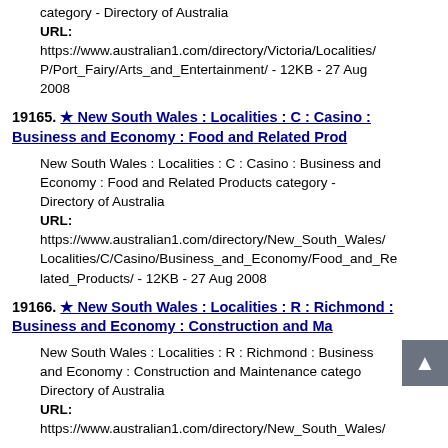category - Directory of Australia
URL:
https://www.australian1.com/directory/Victoria/Localities/P/Port_Fairy/Arts_and_Entertainment/ - 12KB - 27 Aug 2008
19165. ★ New South Wales : Localities : C : Casino : Business and Economy : Food and Related Prod
New South Wales : Localities : C : Casino : Business and Economy : Food and Related Products category - Directory of Australia
URL:
https://www.australian1.com/directory/New_South_Wales/Localities/C/Casino/Business_and_Economy/Food_and_Related_Products/ - 12KB - 27 Aug 2008
19166. ★ New South Wales : Localities : R : Richmond : Business and Economy : Construction and Ma
New South Wales : Localities : R : Richmond : Business and Economy : Construction and Maintenance category - Directory of Australia
URL:
https://www.australian1.com/directory/New_South_Wales/